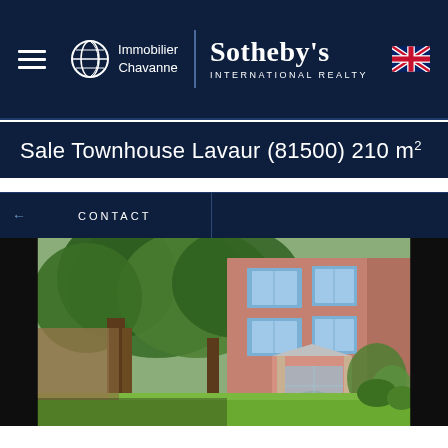Immobilier Chavanne | Sotheby's INTERNATIONAL REALTY
Sale Townhouse Lavaur (81500) 210 m²
CONTACT
[Figure (photo): Exterior photo of a pink-rendered multi-storey townhouse with large trees in the foreground and a garden lawn, viewed from garden level.]